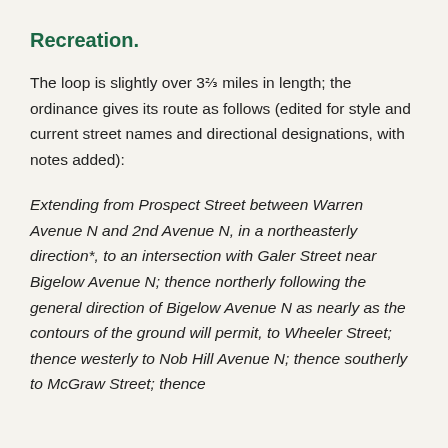Recreation.
The loop is slightly over 3⅔ miles in length; the ordinance gives its route as follows (edited for style and current street names and directional designations, with notes added):
Extending from Prospect Street between Warren Avenue N and 2nd Avenue N, in a northeasterly direction*, to an intersection with Galer Street near Bigelow Avenue N; thence northerly following the general direction of Bigelow Avenue N as nearly as the contours of the ground will permit, to Wheeler Street; thence westerly to Nob Hill Avenue N; thence southerly to McGraw Street; thence